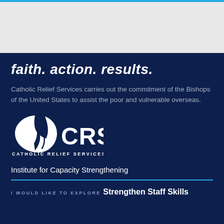faith. action. results.
Catholic Relief Services carries out the commitment of the Bishops of the United States to assist the poor and vulnerable overseas.
[Figure (logo): CRS Catholic Relief Services logo — white droplet/leaf symbol with CRS in large letters and CATHOLIC RELIEF SERVICES below]
Institute for Capacity Strengthening
I WOULD LIKE TO EXPLORE
Strengthen Staff Skills